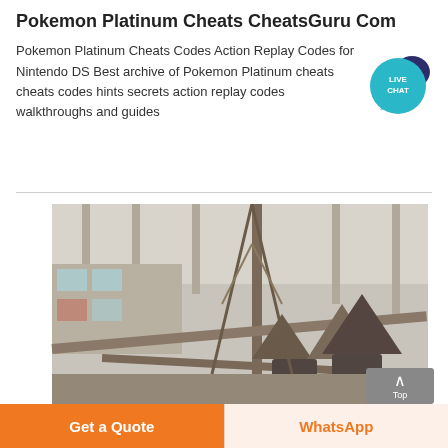Pokemon Platinum Cheats CheatsGuru Com
Pokemon Platinum Cheats Codes Action Replay Codes for Nintendo DS Best archive of Pokemon Platinum cheats cheats codes hints secrets action replay codes walkthroughs and guides
[Figure (illustration): Live Chat speech bubble badge in teal/dark blue colors with 'LIVE CHAT' text]
[Figure (photo): Interior of an industrial factory or mining/crushing facility with heavy machinery, conveyor belts, cone crushers, and steel framework inside a large warehouse structure]
[Figure (other): Gray 'Top' button with upward arrow chevron]
Get a Quote
WhatsApp